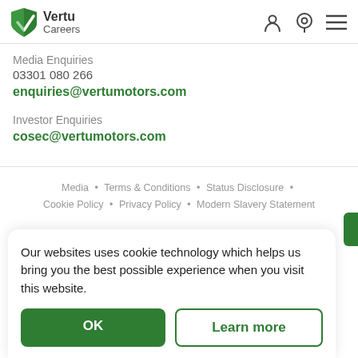Vertu Careers
Media Enquiries
03301 080 266
enquiries@vertumotors.com
Investor Enquiries
cosec@vertumotors.com
Media • Terms & Conditions • Status Disclosure • Cookie Policy • Privacy Policy • Modern Slavery Statement
Our websites uses cookie technology which helps us bring you the best possible experience when you visit this website.
OK
Learn more